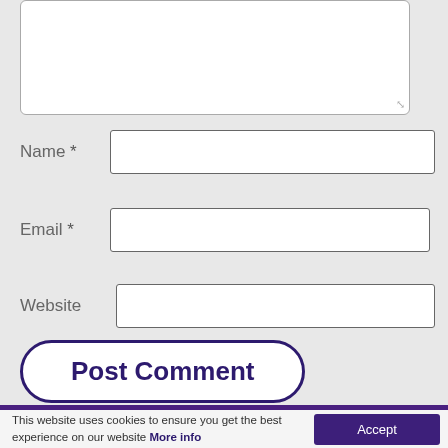[Figure (screenshot): Textarea input box (partially visible, top of page)]
Name *
Email *
Website
Post Comment
This website uses cookies to ensure you get the best experience on our website More info
Accept